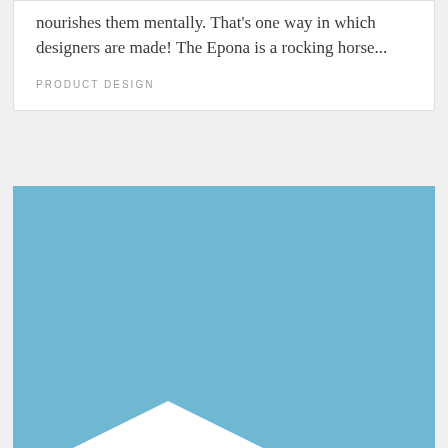nourishes them mentally. That's one way in which designers are made! The Epona is a rocking horse...
PRODUCT DESIGN
[Figure (photo): A large light blue rectangular image block with a white mountain/triangle silhouette visible at the bottom edge]